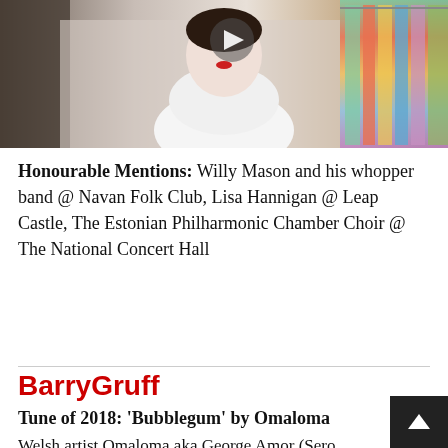[Figure (photo): A woman in a white off-shoulder top standing in what appears to be a clothing store with colorful garments on hangers in the background. A video play button triangle is visible in the upper center.]
Honourable Mentions: Willy Mason and his whopper band @ Navan Folk Club, Lisa Hannigan @ Leap Castle, The Estonian Philharmonic Chamber Choir @ The National Concert Hall
BarryGruff
Tune of 2018: 'Bubblegum' by Omaloma
Welsh artist Omaloma aka George Amor (Sero Serol & Son Sagur) has carved out special space